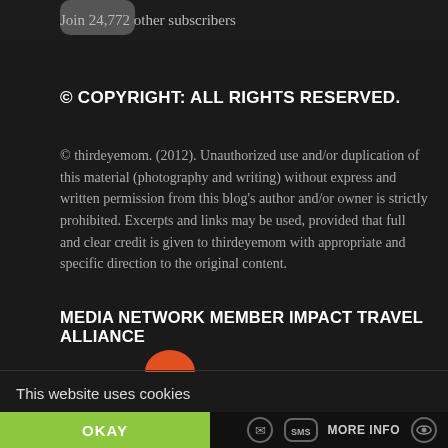[Figure (illustration): Partial dark avatar/profile image shape at top]
Join 24,772 other subscribers
© COPYRIGHT: ALL RIGHTS RESERVED.
© thirdeyemom. (2012). Unauthorized use and/or duplication of this material (photography and writing) without express and written permission from this blog's author and/or owner is strictly prohibited. Excerpts and links may be used, provided that full and clear credit is given to thirdeyemom with appropriate and specific direction to the original content.
MEDIA NETWORK MEMBER IMPACT TRAVEL ALLIANCE
This website uses cookies
OKAY
MORE INFO